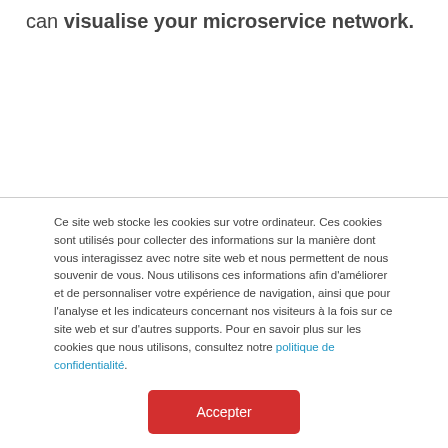can visualise your microservice network.
Ce site web stocke les cookies sur votre ordinateur. Ces cookies sont utilisés pour collecter des informations sur la manière dont vous interagissez avec notre site web et nous permettent de nous souvenir de vous. Nous utilisons ces informations afin d'améliorer et de personnaliser votre expérience de navigation, ainsi que pour l'analyse et les indicateurs concernant nos visiteurs à la fois sur ce site web et sur d'autres supports. Pour en savoir plus sur les cookies que nous utilisons, consultez notre politique de confidentialité.